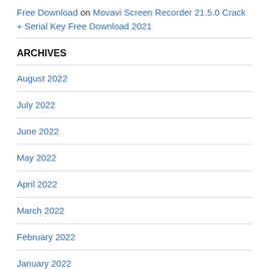Free Download on Movavi Screen Recorder 21.5.0 Crack + Serial Key Free Download 2021
ARCHIVES
August 2022
July 2022
June 2022
May 2022
April 2022
March 2022
February 2022
January 2022